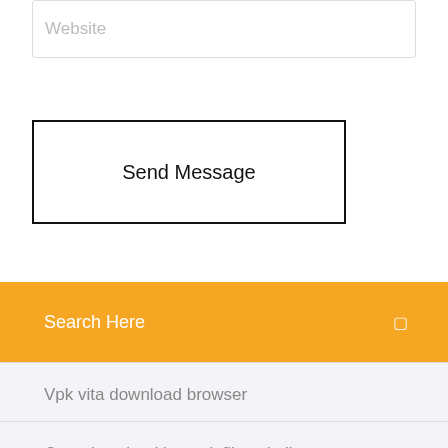Website
Send Message
Search Here
Vpk vita download browser
Cara download banyak file sekaligus
Download chrome driver file